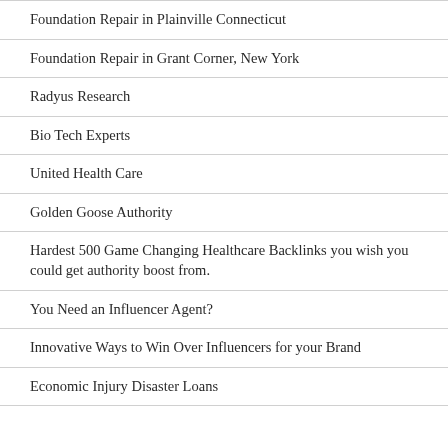Foundation Repair in Plainville Connecticut
Foundation Repair in Grant Corner, New York
Radyus Research
Bio Tech Experts
United Health Care
Golden Goose Authority
Hardest 500 Game Changing Healthcare Backlinks you wish you could get authority boost from.
You Need an Influencer Agent?
Innovative Ways to Win Over Influencers for your Brand
Economic Injury Disaster Loans